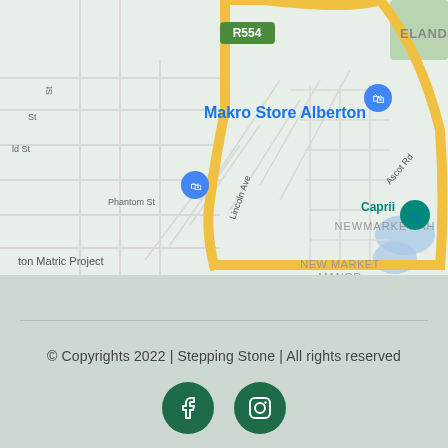[Figure (map): Google Maps screenshot showing Alberton area in South Africa. Features Makro Store Alberton label with shopping bag pin, R554 road sign, yellow highlighted roads forming a triangle/route, street names including Lincoln Ave, Ascot Rd, Phantom St, Gary St, area labels NEWMARKET AH and NEW MARKET MANOR, Caprii location pin, ELANDSFO label top right, blue water features, and 'ton Matric Project' label bottom left.]
© Copyrights 2022 | Stepping Stone | All rights reserved